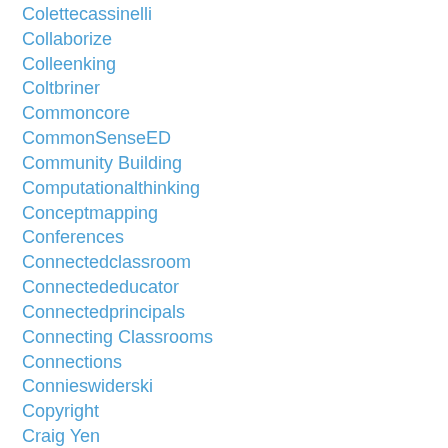Colettecassinelli
Collaborize
Colleenking
Coltbriner
Commoncore
CommonSenseED
Community Building
Computationalthinking
Conceptmapping
Conferences
Connectedclassroom
Connectededucator
Connectedprincipals
Connecting Classrooms
Connections
Connieswiderski
Copyright
Craig Yen
Creativecommons
CurranCentral